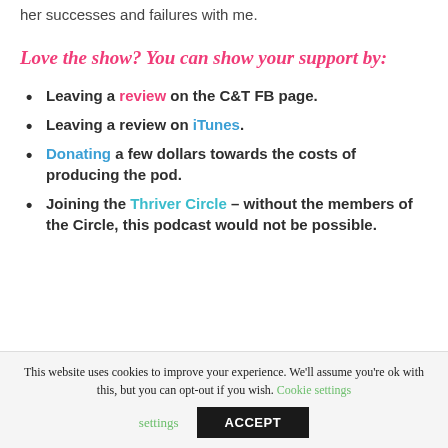her successes and failures with me.
Love the show? You can show your support by:
Leaving a review on the C&T FB page.
Leaving a review on iTunes.
Donating a few dollars towards the costs of producing the pod.
Joining the Thriver Circle - without the members of the Circle, this podcast would not be possible.
This website uses cookies to improve your experience. We'll assume you're ok with this, but you can opt-out if you wish. Cookie settings ACCEPT